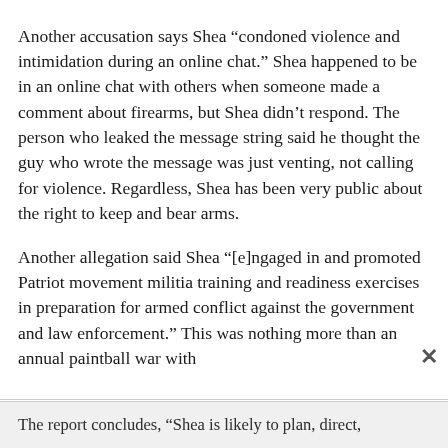Another accusation says Shea “condoned violence and intimidation during an online chat.” Shea happened to be in an online chat with others when someone made a comment about firearms, but Shea didn’t respond. The person who leaked the message string said he thought the guy who wrote the message was just venting, not calling for violence. Regardless, Shea has been very public about the right to keep and bear arms.
Another allegation said Shea “[e]ngaged in and promoted Patriot movement militia training and readiness exercises in preparation for armed conflict against the government and law enforcement.” This was nothing more than an annual paintball war with teens.
The report concludes, “Shea is likely to plan, direct,